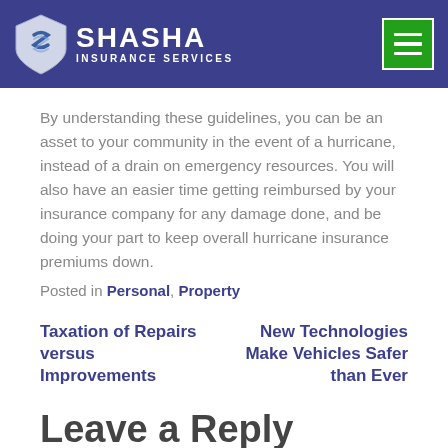SHASHA INSURANCE SERVICES
By understanding these guidelines, you can be an asset to your community in the event of a hurricane, instead of a drain on emergency resources. You will also have an easier time getting reimbursed by your insurance company for any damage done, and be doing your part to keep overall hurricane insurance premiums down.
Posted in Personal, Property
Taxation of Repairs versus Improvements
New Technologies Make Vehicles Safer than Ever
Leave a Reply